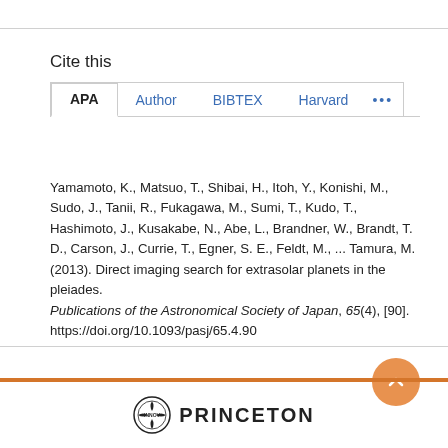Cite this
APA | Author | BIBTEX | Harvard | ...
Yamamoto, K., Matsuo, T., Shibai, H., Itoh, Y., Konishi, M., Sudo, J., Tanii, R., Fukagawa, M., Sumi, T., Kudo, T., Hashimoto, J., Kusakabe, N., Abe, L., Brandner, W., Brandt, T. D., Carson, J., Currie, T., Egner, S. E., Feldt, M., ... Tamura, M. (2013). Direct imaging search for extrasolar planets in the pleiades. Publications of the Astronomical Society of Japan, 65(4), [90]. https://doi.org/10.1093/pasj/65.4.90
[Figure (logo): Princeton University logo with circular seal and PRINCETON text]
PRINCETON